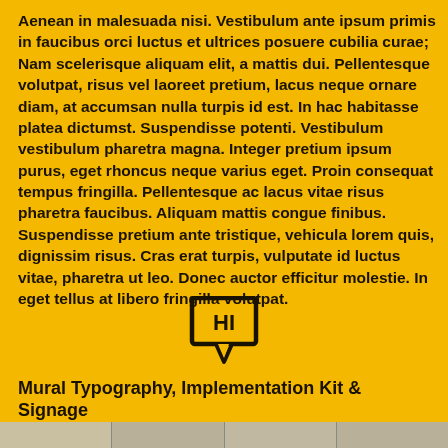Aenean in malesuada nisi. Vestibulum ante ipsum primis in faucibus orci luctus et ultrices posuere cubilia curae; Nam scelerisque aliquam elit, a mattis dui. Pellentesque volutpat, risus vel laoreet pretium, lacus neque ornare diam, at accumsan nulla turpis id est. In hac habitasse platea dictumst. Suspendisse potenti. Vestibulum vestibulum pharetra magna. Integer pretium ipsum purus, eget rhoncus neque varius eget. Proin consequat tempus fringilla. Pellentesque ac lacus vitae risus pharetra faucibus. Aliquam mattis congue finibus. Suspendisse pretium ante tristique, vehicula lorem quis, dignissim risus. Cras erat turpis, vulputate id luctus vitae, pharetra ut leo. Donec auctor efficitur molestie. In eget tellus at libero fringilla volutpat.
[Figure (illustration): A chat bubble / speech bubble icon with the text HI inside, rendered in dark outline on yellow background]
Mural Typography, Implementation Kit & Signage